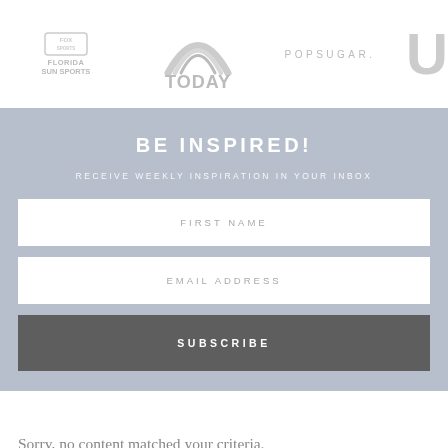[Figure (logo): Logo bar showing Fox Sports / Florida Sun Sports, TODAY, POPSUGAR, and a partial U logo in gray]
BE INSPIRED!
RECEIVE WEEKLY INSPIRATION IN YOUR INBOX
FIRST NAME
EMAIL ADDRESS
SUBSCRIBE
Sorry, no content matched your criteria.